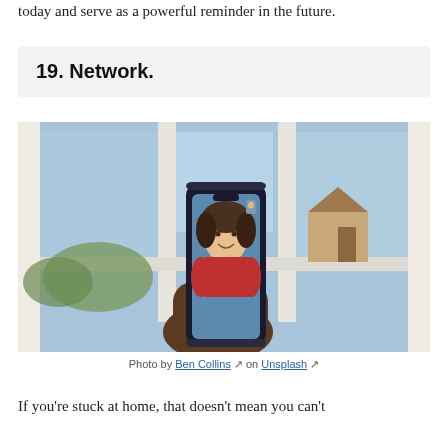today and serve as a powerful reminder in the future.
19. Network.
[Figure (photo): A hand holding a smartphone showing a FaceTime or video call with a smiling person in a red hoodie, with a window and suburban houses visible in the background.]
Photo by Ben Collins on Unsplash
If you're stuck at home, that doesn't mean you can't